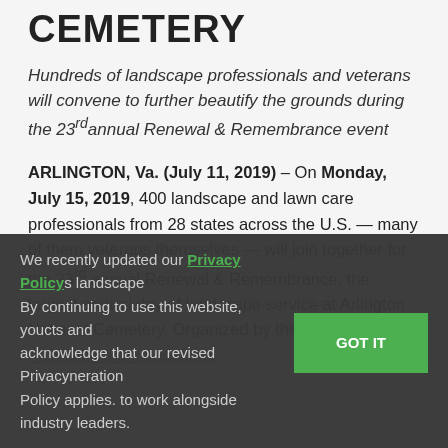CEMETERY
Hundreds of landscape professionals and veterans will convene to further beautify the grounds during the 23rd annual Renewal & Remembrance event
ARLINGTON, Va. (July 11, 2019) – On Monday, July 15, 2019, 400 landscape and lawn care professionals from 28 states across the U.S. — many of them veterans themselves — will join together for the 23rd annual Renewal & Remembrance, the largest annual day of landscape service at Arlington National Cemetery. Organized by the National Association of Landscape
We recently updated our Privacy Policy. s landscape By continuing to use this website, you cts and acknowledge that our revised Privacy neration Policy applies. to work alongside industry leaders.